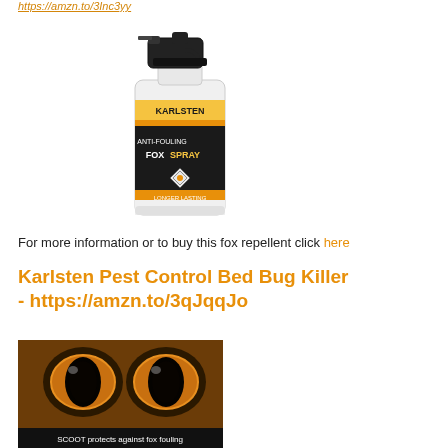https://amzn.to/3lnc3yy
[Figure (photo): Karlsten Anti-Fouling Fox Spray product bottle with spray trigger, black and gold label]
For more information or to buy this fox repellent click here
Karlsten Pest Control Bed Bug Killer - https://amzn.to/3qJqqJo
[Figure (photo): Close-up of fox eyes with orange iris, with text 'SCOOT protects against fox fouling' at bottom]